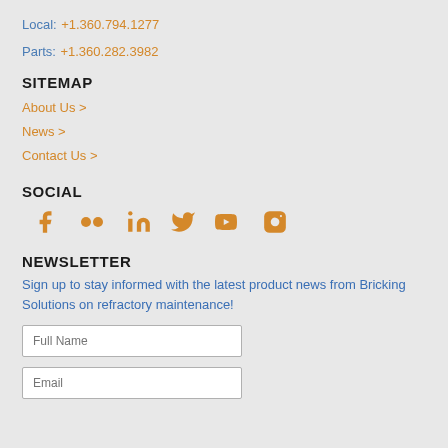Local: +1.360.794.1277
Parts: +1.360.282.3982
SITEMAP
About Us >
News >
Contact Us >
SOCIAL
[Figure (infographic): Social media icons: Facebook, Flickr, LinkedIn, Twitter, YouTube, Instagram — all in orange]
NEWSLETTER
Sign up to stay informed with the latest product news from Bricking Solutions on refractory maintenance!
Full Name
Email